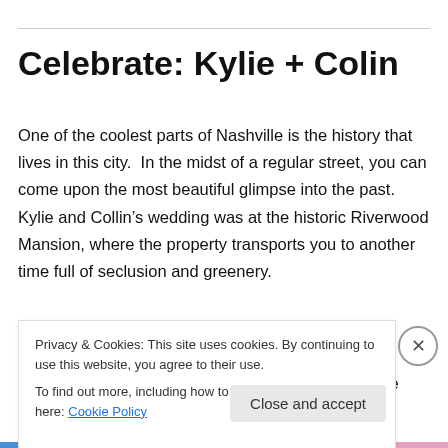Celebrate: Kylie + Colin
One of the coolest parts of Nashville is the history that lives in this city.  In the midst of a regular street, you can come upon the most beautiful glimpse into the past.  Kylie and Collin’s wedding was at the historic Riverwood Mansion, where the property transports you to another time full of seclusion and greenery.
Kylie and Collin recently moved to Nashville and are
Privacy & Cookies: This site uses cookies. By continuing to use this website, you agree to their use.
To find out more, including how to control cookies, see here: Cookie Policy
Close and accept